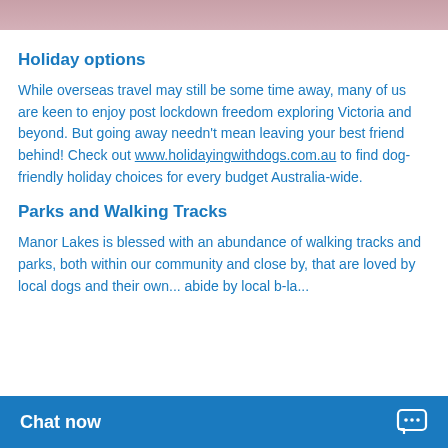[Figure (photo): Partial photo strip at the top of the page, showing what appears to be a person or people, cropped.]
Holiday options
While overseas travel may still be some time away, many of us are keen to enjoy post lockdown freedom exploring Victoria and beyond. But going away needn't mean leaving your best friend behind! Check out www.holidayingwithdogs.com.au to find dog-friendly holiday choices for every budget Australia-wide.
Parks and Walking Tracks
Manor Lakes is blessed with an abundance of walking tracks and parks, both within our community and close by, that are loved by local dogs and their ow... abide by local b-la...